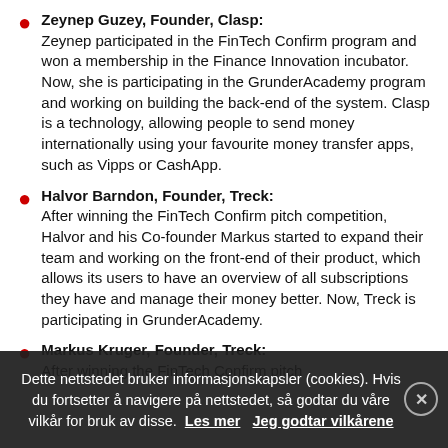Zeynep Guzey, Founder, Clasp: Zeynep participated in the FinTech Confirm program and won a membership in the Finance Innovation incubator. Now, she is participating in the GrunderAcademy program and working on building the back-end of the system. Clasp is a technology, allowing people to send money internationally using your favourite money transfer apps, such as Vipps or CashApp.
Halvor Barndon, Founder, Treck: After winning the FinTech Confirm pitch competition, Halvor and his Co-founder Markus started to expand their team and working on the front-end of their product, which allows its users to have an overview of all subscriptions they have and manage their money better. Now, Treck is participating in GrunderAcademy.
Markus Kruger, Founder, Treck: After winning the FinTech Confirm pitch
Dette nettstedet bruker informasjonskapsler (cookies). Hvis du fortsetter å navigere på nettstedet, så godtar du våre vilkår for bruk av disse. Les mer   Jeg godtar vilkårene